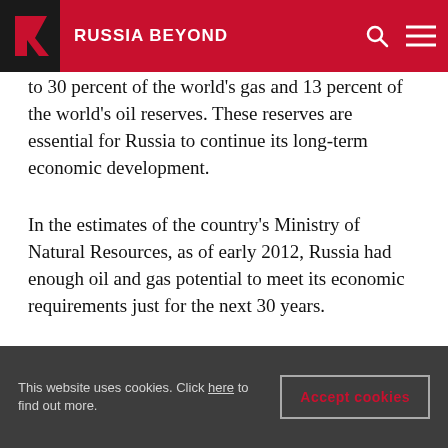RUSSIA BEYOND
to 30 percent of the world's gas and 13 percent of the world's oil reserves. These reserves are essential for Russia to continue its long-term economic development.
In the estimates of the country's Ministry of Natural Resources, as of early 2012, Russia had enough oil and gas potential to meet its economic requirements just for the next 30 years.
Related
This website uses cookies. Click here to find out more.